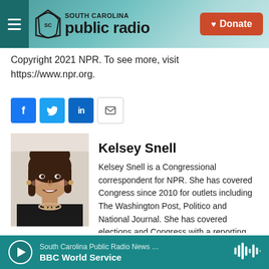[Figure (logo): South Carolina Public Radio website header with logo, navigation menu button, and Donate button]
Copyright 2021 NPR. To see more, visit https://www.npr.org.
[Figure (infographic): Social share buttons: Facebook, Twitter, LinkedIn, Email]
[Figure (photo): Headshot photo of Kelsey Snell]
Kelsey Snell
Kelsey Snell is a Congressional correspondent for NPR. She has covered Congress since 2010 for outlets including The Washington Post, Politico and National Journal. She has covered elections and Congress with a reporting
South Carolina Public Radio News … BBC World Service